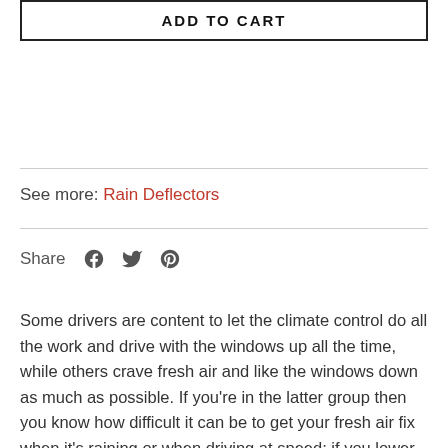ADD TO CART
See more: Rain Deflectors
Share
Some drivers are content to let the climate control do all the work and drive with the windows up all the time, while others crave fresh air and like the windows down as much as possible. If you’re in the latter group then you know how difficult it can be to get your fresh air fix when it’s raining or when driving at speed; if you lower